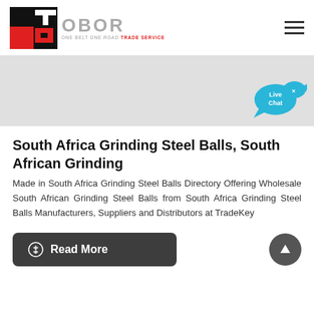[Figure (logo): OBOR One Belt One Road Trade Service logo with TS icon in red and black]
[Figure (illustration): Gray banner area with Live Chat speech bubble widget in blue on the right side]
South Africa Grinding Steel Balls, South African Grinding
Made in South Africa Grinding Steel Balls Directory Offering Wholesale South African Grinding Steel Balls from South Africa Grinding Steel Balls Manufacturers, Suppliers and Distributors at TradeKey
[Figure (other): Read More button (dark gray rounded rectangle) and scroll-to-top circular button]